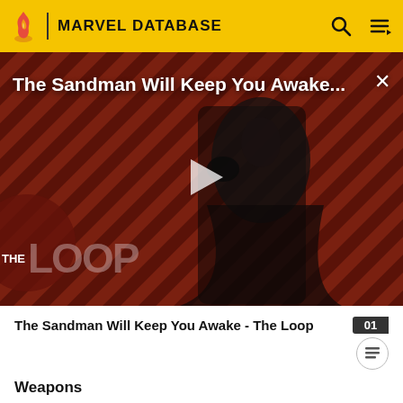MARVEL DATABASE
[Figure (screenshot): Video thumbnail with diagonal stripe background in dark red, showing a figure in a black cape holding a raven. Large play button in center. Overlay shows 'The Sandman Will Keep You Awake...' title and THE LOOP logo.]
The Sandman Will Keep You Awake - The Loop
Weapons
Blizzard Armor: A battlesuit containing microcircuited cryogenic units (micro-cryostats) that